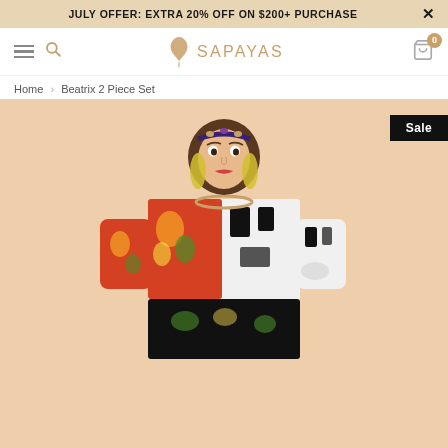JULY OFFER: EXTRA 20% OFF ON $200+ PURCHASE
[Figure (logo): Sapayas brand logo with a leaf/bird icon and the text SAPAYAS in gold]
Home › Beatrix 2 Piece Set
Sale
[Figure (photo): A woman wearing a colorful patchwork print 2-piece set (Beatrix) with floral and geometric patterns, standing against a peach/beige background. She has brown hair, gold earrings, and a jeweled headband.]